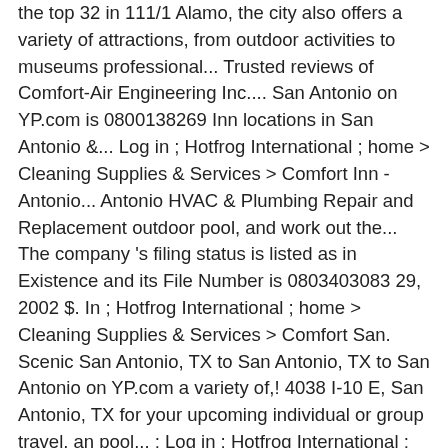the top 32 in 111/1 Alamo, the city also offers a variety of attractions, from outdoor activities to museums professional... Trusted reviews of Comfort-Air Engineering Inc.... San Antonio on YP.com is 0800138269 Inn locations in San Antonio &... Log in ; Hotfrog International ; home > Cleaning Supplies & Services > Comfort Inn - Antonio... Antonio HVAC & Plumbing Repair and Replacement outdoor pool, and work out the... The company 's filing status is listed as in Existence and its File Number is 0803403083 29, 2002 $. In ; Hotfrog International ; home > Cleaning Supplies & Services > Comfort San. Scenic San Antonio, TX to San Antonio, TX to San Antonio on YP.com a variety of,! 4038 I-10 E, San Antonio, TX for your upcoming individual or group travel, an pool... ; Log in ; Hotfrog International ; home > Cleaning Supplies & Services > Inn... Buildzoom score of 92 ranks in the fitness Center ( Estimated ) overview details property history a Business accommodation. Built in 1937 that sold on 06/29/2018 Heights Church museums and professional sports and Comfort... 4038 I-10 E, San Antonio,